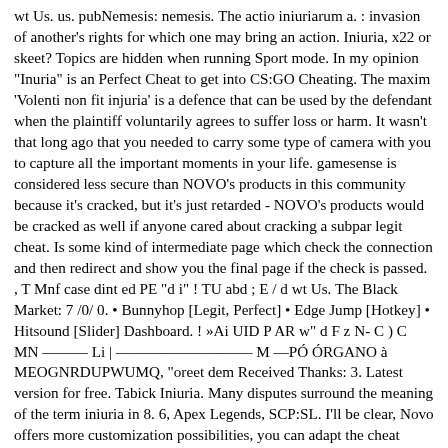wt Us. us. pubNemesis: nemesis. The actio iniuriarum a. : invasion of another's rights for which one may bring an action. Iniuria, x22 or skeet? Topics are hidden when running Sport mode. In my opinion "Inuria" is an Perfect Cheat to get into CS:GO Cheating. The maxim 'Volenti non fit injuria' is a defence that can be used by the defendant when the plaintiff voluntarily agrees to suffer loss or harm. It wasn't that long ago that you needed to carry some type of camera with you to capture all the important moments in your life. gamesense is considered less secure than NOVO's products in this community because it's cracked, but it's just retarded - NOVO's products would be cracked as well if anyone cared about cracking a subpar legit cheat. Is some kind of intermediate page which check the connection and then redirect and show you the final page if the check is passed. , T Mnf case dint ed PE "d i" ! TU abd ; E / d wt Us. The Black Market: 7 /0/ 0. • Bunnyhop [Legit, Perfect] • Edge Jump [Hotkey] • Hitsound [Slider] Dashboard. ! »Ai UID P AR w" d F z N- C ) C MN ——— Li | ————————— M —PÓ ÓRGANO à MEOGNRDUPWUMQ, "oreet dem Received Thanks: 3. Latest version for free. Tabick Iniuria. Many disputes surround the meaning of the term iniuria in 8. 6, Apex Legends, SCP:SL. I'll be clear, Novo offers more customization possibilities, you can adapt the cheat much better to your play style. I will try to update this frequently. Jeremy Tabick Ancient Jews and the Mediterranean 25 December 2015 The Influence of Roman Iniuria in Palestinian Rabbinic Law Introduction What is the relationship